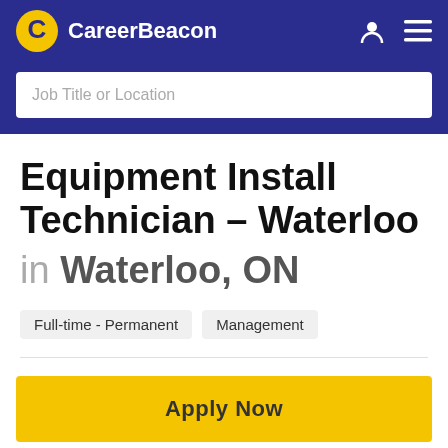[Figure (logo): CareerBeacon logo with yellow C icon and white text on navy background navigation bar]
Job Title or Location
Equipment Install Technician – Waterloo
in Waterloo, ON
Full-time - Permanent
Management
Apply Now